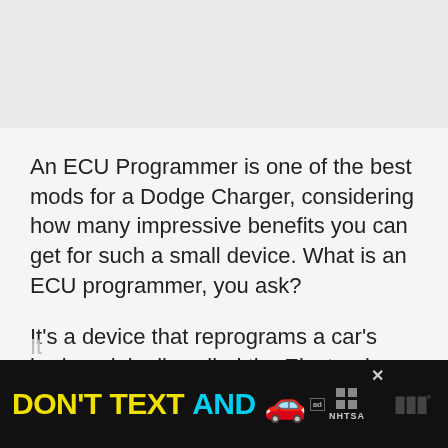[Figure (photo): Light gray placeholder image area at top of page]
An ECU Programmer is one of the best mods for a Dodge Charger, considering how many impressive benefits you can get for such a small device. What is an ECU programmer, you ask?
It’s a device that reprograms a car’s brain, originally called the Electronic Control Unit. A good ol’ tuning can help you alter several areas of your vehicle’s settings, and improve its performance, emissions, and can even modify its air/fuel ratio.
[Figure (other): Advertisement banner at bottom: DON'T TEXT AND [car emoji] with NHTSA badge and close button]